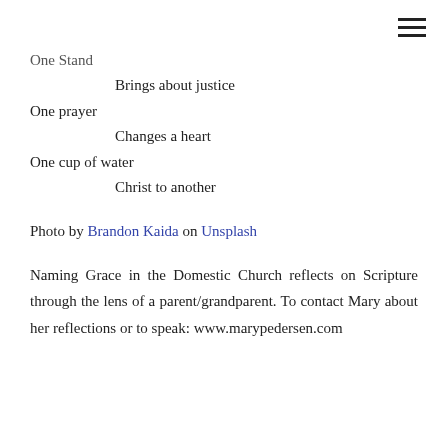One Stand
Brings about justice
One prayer
Changes a heart
One cup of water
Christ to another
Photo by Brandon Kaida on Unsplash
Naming Grace in the Domestic Church reflects on Scripture through the lens of a parent/grandparent. To contact Mary about her reflections or to speak: www.marypedersen.com